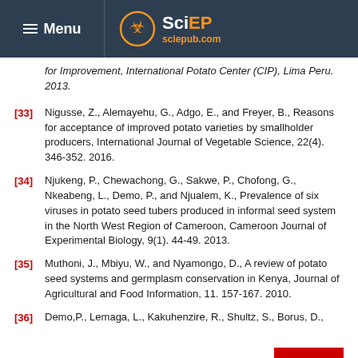≡ Menu | SciEP sciepub.com
for Improvement, International Potato Center (CIP), Lima Peru. 2013.
[33] Nigusse, Z., Alemayehu, G., Adgo, E., and Freyer, B., Reasons for acceptance of improved potato varieties by smallholder producers, International Journal of Vegetable Science, 22(4). 346-352. 2016.
[34] Njukeng, P., Chewachong, G., Sakwe, P., Chofong, G., Nkeabeng, L., Demo, P., and Njualem, K., Prevalence of six viruses in potato seed tubers produced in informal seed system in the North West Region of Cameroon, Cameroon Journal of Experimental Biology, 9(1). 44-49. 2013.
[35] Muthoni, J., Mbiyu, W., and Nyamongo, D., A review of potato seed systems and germplasm conservation in Kenya, Journal of Agricultural and Food Information, 11. 157-167. 2010.
[36] Demo,P., Lemaga, L., Kakuhenzire, R., Shultz, S., Borus, D.,